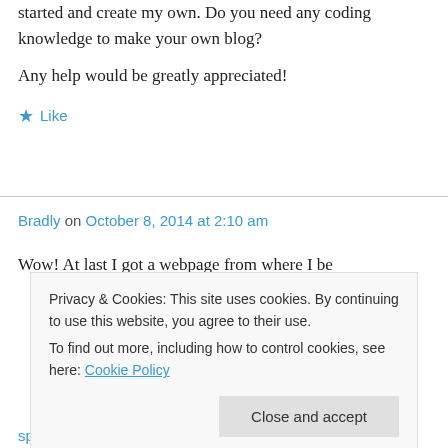started and create my own. Do you need any coding knowledge to make your own blog?
Any help would be greatly appreciated!
★ Like
Bradly on October 8, 2014 at 2:10 am
Wow! At last I got a webpage from where I be
Privacy & Cookies: This site uses cookies. By continuing to use this website, you agree to their use.
To find out more, including how to control cookies, see here: Cookie Policy
Close and accept
spot treatment essential oils on October 8, 2014 at